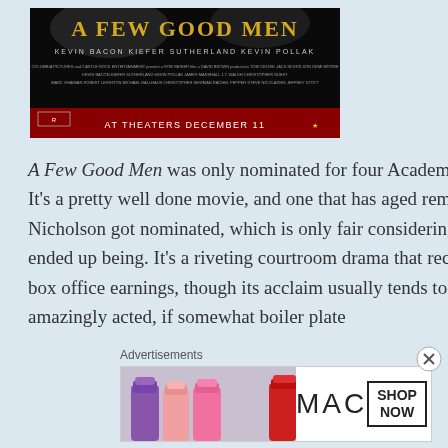[Figure (photo): Movie poster for 'A Few Good Men' featuring the title in gold text on a dark background, with cast names Kevin Bacon, Kiefer Sutherland, Kevin Pollak listed, and 'AT THEATERS DECEMBER 11' at the bottom.]
A Few Good Men was only nominated for four Academy Awards, which seems wrong. It's a pretty well done movie, and one that has aged remarkably well. Yes, Jack Nicholson got nominated, which is only fair considering how iconic his performance ended up being. It's a riveting courtroom drama that received rave reviews and huge box office earnings, though its acclaim usually tends to fall along the lines of, "It's amazingly acted, if somewhat boiler plate
Advertisements
[Figure (photo): MAC cosmetics advertisement showing colorful lipsticks in purple, pink, and red tones with the MAC logo and a 'SHOP NOW' button in a bordered box.]